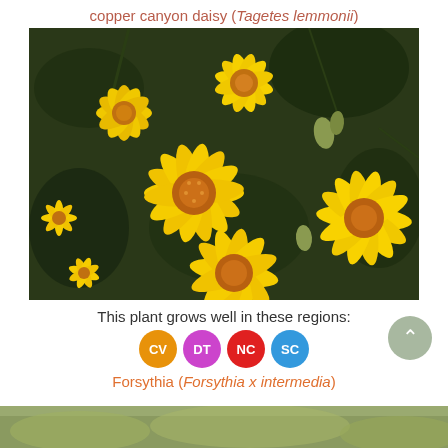copper canyon daisy (Tagetes lemmonii)
[Figure (photo): Close-up photograph of bright yellow copper canyon daisy flowers (Tagetes lemmonii) with orange-yellow centers, blooming against dark green foliage background.]
This plant grows well in these regions:
[Figure (infographic): Four colored circular badges showing region codes: CV (orange), DT (purple), NC (red), SC (blue)]
Forsythia (Forsythia x intermedia)
[Figure (photo): Partial view of Forsythia plant at bottom of page]